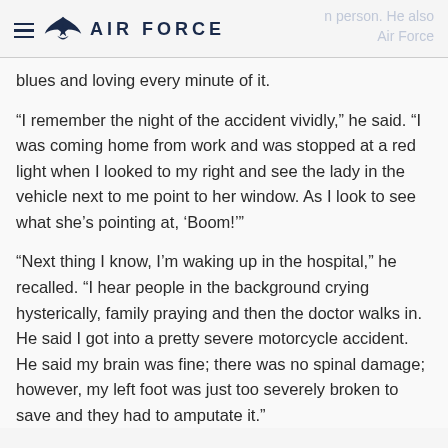AIR FORCE
blues and loving every minute of it.
“I remember the night of the accident vividly,” he said. “I was coming home from work and was stopped at a red light when I looked to my right and see the lady in the vehicle next to me point to her window. As I look to see what she’s pointing at, ‘Boom!’”
“Next thing I know, I’m waking up in the hospital,” he recalled. “I hear people in the background crying hysterically, family praying and then the doctor walks in. He said I got into a pretty severe motorcycle accident. He said my brain was fine; there was no spinal damage; however, my left foot was just too severely broken to save and they had to amputate it.”